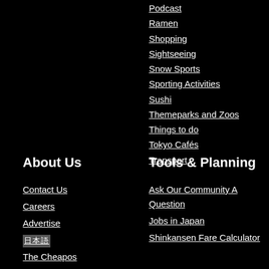Podcast
Ramen
Shopping
Sightseeing
Snow Sports
Sporting Activities
Sushi
Themeparks and Zoos
Things to do
Tokyo Cafés
Transport
About Us
Tools & Planning
Contact Us
Careers
Advertise
日本語
The Cheapos
Sustainable Travel
Ask Our Community A Question
Jobs in Japan
Shinkansen Fare Calculator